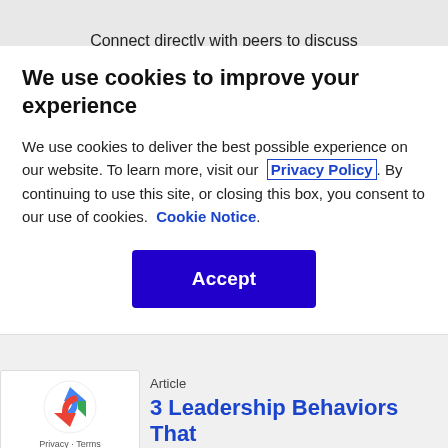Connect directly with peers to discuss
We use cookies to improve your experience
We use cookies to deliver the best possible experience on our website. To learn more, visit our  Privacy Policy . By continuing to use this site, or closing this box, you consent to our use of cookies.  Cookie Notice .
[Figure (other): Blue Accept button (cookie consent)]
[Figure (other): reCAPTCHA badge with logo and Privacy - Terms text]
Article
3 Leadership Behaviors That